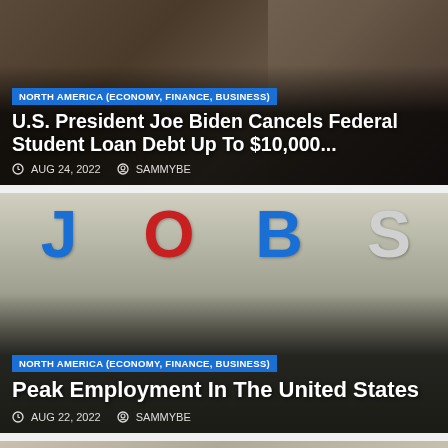[Figure (photo): Person working on laptop in dark setting, background for student loan article]
NORTH AMERICA (ECONOMY, FINANCE, BUSINESS)
U.S. President Joe Biden Cancels Federal Student Loan Debt Up To $10,000...
AUG 24, 2022  SAMMYBE
[Figure (photo): Building facade with large JOBS letters on blue banners]
NORTH AMERICA (ECONOMY, FINANCE, BUSINESS)
Peak Employment In The United States
AUG 22, 2022  SAMMYBE
[Figure (photo): Bed Bath & Beyond storefront with palm trees]
NORTH AMERICA (ECONOMY, FINANCE, BUSINESS)